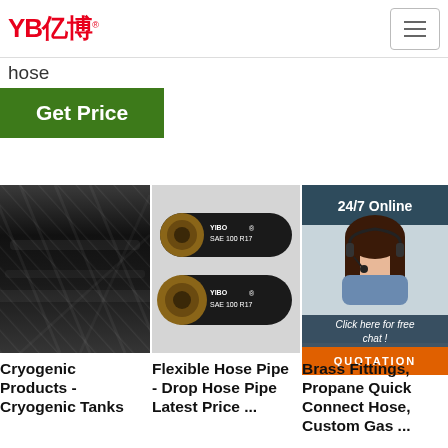YB亿博 [logo] | hamburger menu
hose
Get Price
[Figure (photo): Black cryogenic hose close-up with braided texture]
[Figure (photo): Two black YIBO SAE 100 R17 flexible hose pipes]
[Figure (photo): 24/7 Online chat widget with female agent wearing headset, 'Click here for free chat!' and QUOTATION button]
Cryogenic Products - Cryogenic Tanks
Flexible Hose Pipe - Drop Hose Pipe Latest Price ...
Brass Fittings, Propane Quick Connect Hose, Custom Gas ...